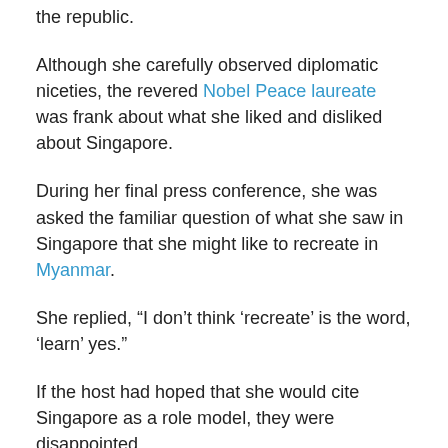the republic.
Although she carefully observed diplomatic niceties, the revered Nobel Peace laureate was frank about what she liked and disliked about Singapore.
During her final press conference, she was asked the familiar question of what she saw in Singapore that she might like to recreate in Myanmar.
She replied, “I don’t think ‘recreate’ is the word, ‘learn’ yes.”
If the host had hoped that she would cite Singapore as a role model, they were disappointed.
Her country, she said, would not want copy the city’s materialistic and high pressure living that had come with its affluence.